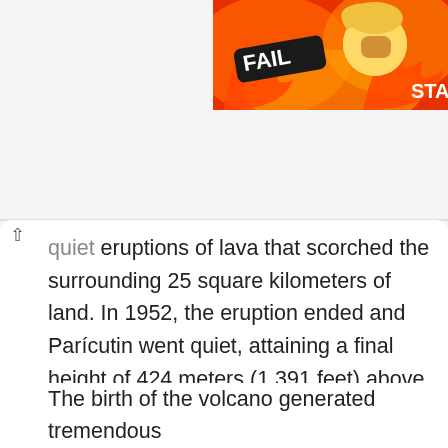[Figure (screenshot): Advertisement banner with 'FAIL' badge on orange/fire background with cartoon character, partially showing 'STA' text on right edge]
quiet eruptions of lava that scorched the surrounding 25 square kilometers of land. In 1952, the eruption ended and Parícutin went quiet, attaining a final height of 424 meters (1,391 feet) above the cornfield where it began. Parícutin is believed to be a monogenetic volcano, meaning that it will never erupt again. It is classified as an extinct volcano. The cinder cone and the half-buried church are popular among tourists today.
The birth of the volcano generated tremendous